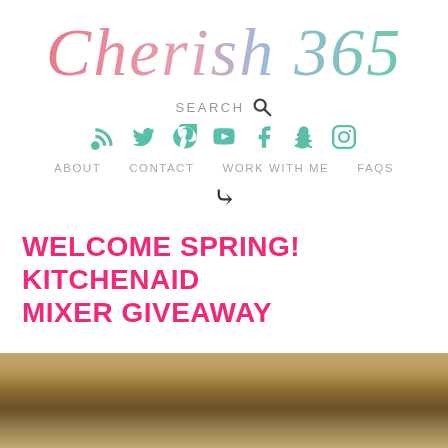Cherish 365
SEARCH
[Figure (logo): Social media icons row: RSS feed, Twitter, Pinterest, YouTube, Facebook, Snapchat, Instagram — all in teal/mint green]
ABOUT   CONTACT   WORK WITH ME   FAQS
WELCOME SPRING! KITCHENAID MIXER GIVEAWAY
[Figure (photo): Bottom portion of a blurred photo showing warm golden/brown tones, partial image of what appears to be a kitchenaid mixer or spring-themed subject]